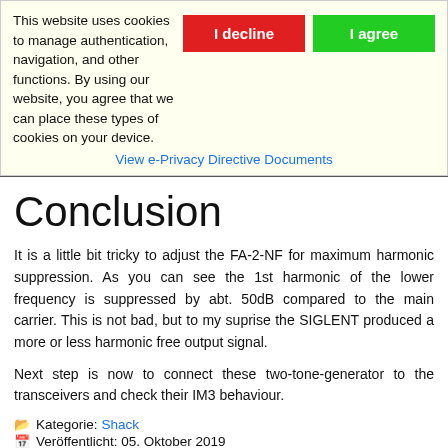This website uses cookies to manage authentication, navigation, and other functions. By using our website, you agree that we can place these types of cookies on your device.
View e-Privacy Directive Documents
Conclusion
It is a little bit tricky to adjust the FA-2-NF for maximum harmonic suppression. As you can see the 1st harmonic of the lower frequency is suppressed by abt. 50dB compared to the main carrier. This is not bad, but to my suprise the SIGLENT produced a more or less harmonic free output signal.
Next step is now to connect these two-tone-generator to the transceivers and check their IM3 behaviour.
Kategorie: Shack
Veröffentlicht: 05. Oktober 2019
2014 CW (Morse Telegraphy) was added to the German Nationwide Inventory of Intangible Cultural Heritage...